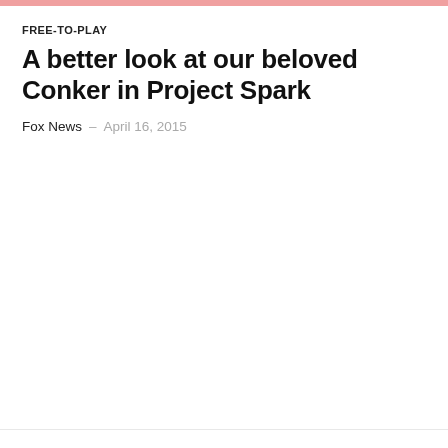FREE-TO-PLAY
A better look at our beloved Conker in Project Spark
Fox News  –  April 16, 2015
DESTRUCTOID ORIGINALS
Game News Haikus: EarthBound, The Last of